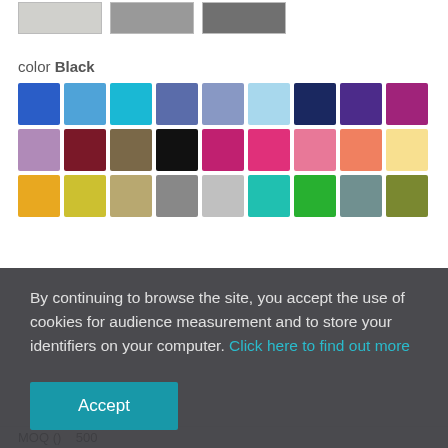[Figure (photo): Three small product images partially visible at the top of the page]
color Black
[Figure (illustration): Color swatch grid showing 27 color options across three rows: Row 1: royal blue, sky blue, cyan, slate blue, periwinkle, light blue, navy, purple, magenta. Row 2: lavender, dark red/maroon, taupe, black, deep pink, hot pink, light pink, salmon, pale yellow. Row 3 (partially visible): gold, yellow-green, tan, gray, silver, teal, green, slate, olive.]
By continuing to browse the site, you accept the use of cookies for audience measurement and to store your identifiers on your computer. Click here to find out more
Accept
MOQ (   )    500